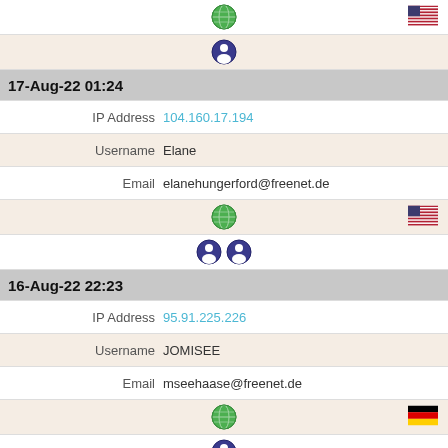|  | Globe icon + US flag |
|  | User icon |
| 17-Aug-22 01:24 |  |
| IP Address | 104.160.17.194 |
| Username | Elane |
| Email | elanehungerford@freenet.de |
|  | Globe icon + US flag |
|  | User icon x2 |
| 16-Aug-22 22:23 |  |
| IP Address | 95.91.225.226 |
| Username | JOMISEE |
| Email | mseehaase@freenet.de |
|  | Globe icon + DE flag |
|  | User icon |
| 16-Aug-22 14:15 |  |
| IP Address | 196.244.200.62 |
| Username | Forum |